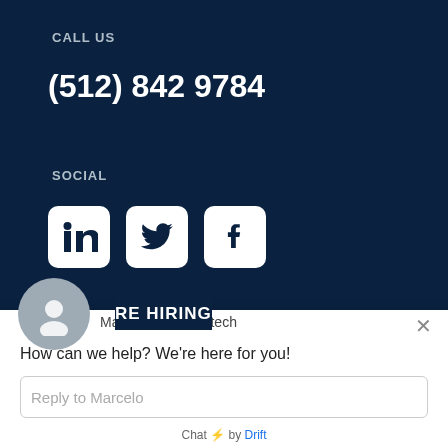CALL US
(512) 842 9784
SOCIAL
[Figure (illustration): LinkedIn, Twitter, and Facebook social media icons as white rounded square buttons on dark navy background]
RE HIRING
[Figure (illustration): Chat widget avatar - grey circle with person silhouette icon]
Marcelo from Kreitech
How can we help? We're here for you!
Reply to Marcelo
Chat ⚡ by Drift